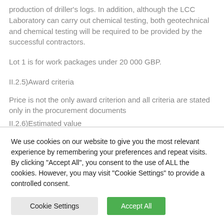production of driller's logs. In addition, although the LCC Laboratory can carry out chemical testing, both geotechnical and chemical testing will be required to be provided by the successful contractors.
Lot 1 is for work packages under 20 000 GBP.
II.2.5)Award criteria
Price is not the only award criterion and all criteria are stated only in the procurement documents
II.2.6)Estimated value
We use cookies on our website to give you the most relevant experience by remembering your preferences and repeat visits. By clicking "Accept All", you consent to the use of ALL the cookies. However, you may visit "Cookie Settings" to provide a controlled consent.